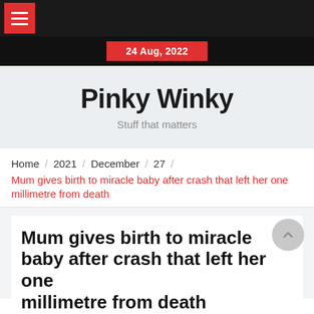Navigation bar with hamburger menu
24 Aug, 2022
Pinky Winky
Stuff that matters
Home / 2021 / December / 27 /
Mum gives birth to miracle baby after crash that left her one millimetre from death
Mum gives birth to miracle baby after crash that left her one millimetre from death